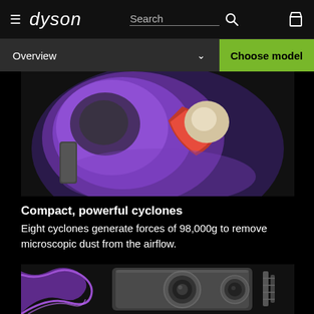dyson | Search | (bag icon)
Overview   ∨   Choose model
[Figure (photo): Close-up macro photo of purple and red Dyson vacuum cyclone components against a dark background]
Compact, powerful cyclones
Eight cyclones generate forces of 98,000g to remove microscopic dust from the airflow.
[Figure (photo): Close-up photo of Dyson vacuum motor and metallic mechanical components with purple swirl, shown in black and white with purple accent]